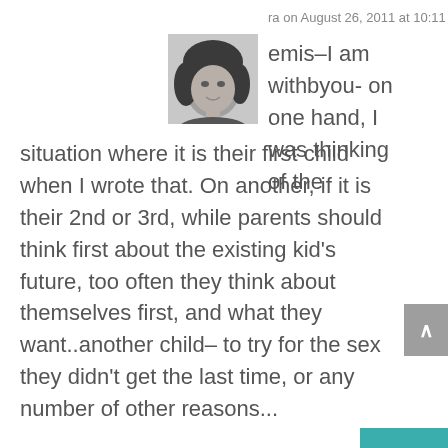ra on August 26, 2011 at 10:11 am
[Figure (photo): Black and white headshot photo of a woman with dark curly hair, partially cropped]
emis–I am withbyou- on one hand, I was thinking of the situation where it is their first child when I wrote that. On another, if it is their 2nd or 3rd, while parents should think first about the existing kid's future, too often they think about themselves first, and what they want..another child– to try for the sex they didn't get the last time, or any number of other reasons...